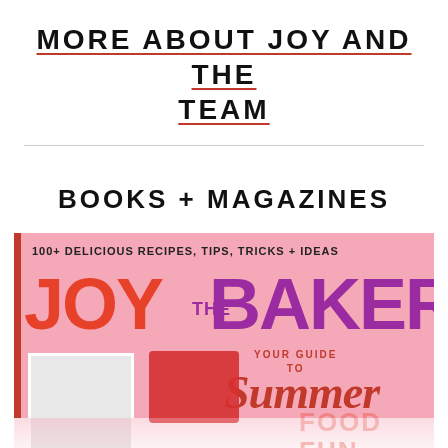MORE ABOUT JOY AND THE TEAM
BOOKS + MAGAZINES
[Figure (photo): Joy the Baker magazine cover on pink background with text '100+ Delicious Recipes, Tips, Tricks + Ideas', large colorful logo text 'JOY the BAKER', subtitle 'Your Guide to Summer', with photo of a woman and red strawberry image]